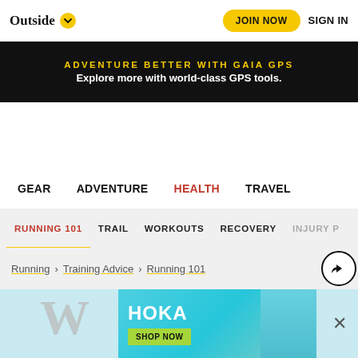Outside | JOIN NOW | SIGN IN
[Figure (infographic): Black banner ad: ADVENTURE BETTER WITH GAIA GPS - Explore more with world-class GPS tools.]
[Figure (logo): Outside magazine logo in gold/orange gradient with search and menu icons]
GEAR | ADVENTURE | HEALTH | TRAVEL
RUNNING 101 | TRAIL | WORKOUTS | RECOVERY | INJURY P...
Running > Training Advice > Running 101
[Figure (infographic): HOKA advertisement banner with SHOP NOW button and person running]